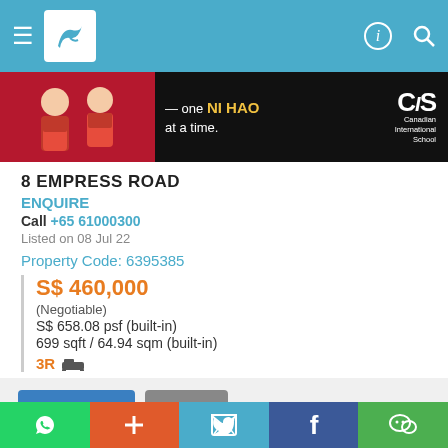SingaporeExpats.com header navigation
[Figure (illustration): CIS Canadian International School advertisement banner — 'one NI HAO at a time.']
8 EMPRESS ROAD
ENQUIRE
Call +65 61000300
Listed on 08 Jul 22
Property Code: 6395385
S$ 460,000
(Negotiable)
S$ 658.08 psf (built-in)
699 sqft / 64.94 sqm (built-in)
3R
SingaporeExpats.com Pte Ltd provides a compilation of properties for sale or rent in Singapore and other countries and does not carry
Social share bar: WhatsApp, +, Twitter, Facebook, WeChat